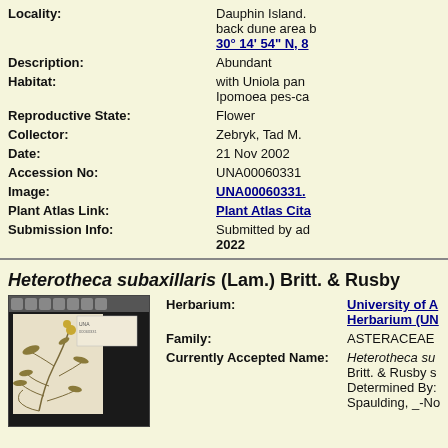Locality: Dauphin Island. back dune area b... 30° 14' 54" N, 8...
Description: Abundant
Habitat: with Uniola pan... Ipomoea pes-ca...
Reproductive State: Flower
Collector: Zebryk, Tad M.
Date: 21 Nov 2002
Accession No: UNA00060331
Image: UNA00060331.
Plant Atlas Link: Plant Atlas Cita...
Submission Info: Submitted by ad... 2022
Heterotheca subaxillaris (Lam.) Britt. & Rusby
[Figure (photo): Herbarium specimen photo of Heterotheca subaxillaris plant on dark background]
Herbarium: University of A... Herbarium (UN...
Family: ASTERACEAE
Currently Accepted Name: Heterotheca su... Britt. & Rusby s... Determined By: Spaulding, _-No...